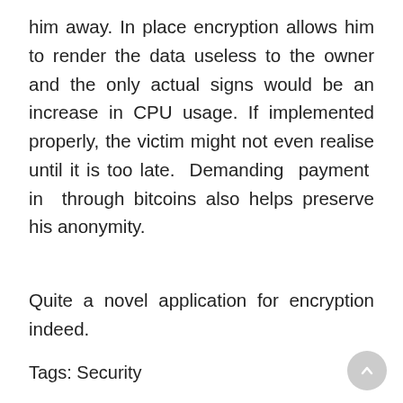him away. In place encryption allows him to render the data useless to the owner and the only actual signs would be an increase in CPU usage. If implemented properly, the victim might not even realise until it is too late. Demanding payment in through bitcoins also helps preserve his anonymity.
Quite a novel application for encryption indeed.
Tags: Security